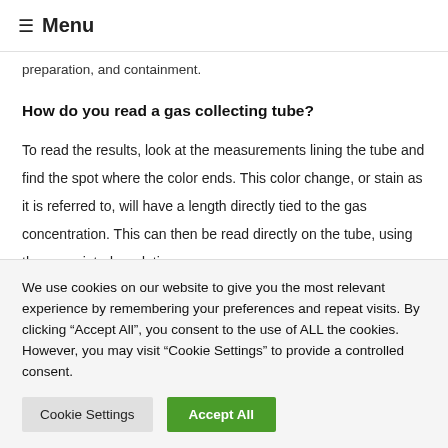≡ Menu
preparation, and containment.
How do you read a gas collecting tube?
To read the results, look at the measurements lining the tube and find the spot where the color ends. This color change, or stain as it is referred to, will have a length directly tied to the gas concentration. This can then be read directly on the tube, using the pre-printed gradations.
We use cookies on our website to give you the most relevant experience by remembering your preferences and repeat visits. By clicking "Accept All", you consent to the use of ALL the cookies. However, you may visit "Cookie Settings" to provide a controlled consent.